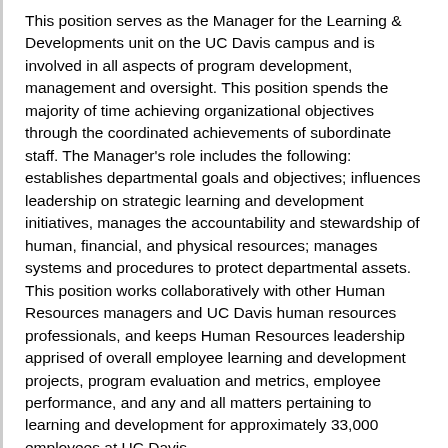This position serves as the Manager for the Learning & Developments unit on the UC Davis campus and is involved in all aspects of program development, management and oversight. This position spends the majority of time achieving organizational objectives through the coordinated achievements of subordinate staff. The Manager's role includes the following: establishes departmental goals and objectives; influences leadership on strategic learning and development initiatives, manages the accountability and stewardship of human, financial, and physical resources; manages systems and procedures to protect departmental assets. This position works collaboratively with other Human Resources managers and UC Davis human resources professionals, and keeps Human Resources leadership apprised of overall employee learning and development projects, program evaluation and metrics, employee performance, and any and all matters pertaining to learning and development for approximately 33,000 employees at UC Davis.
PHYSICAL DEMANDS
Sitting – Frequently